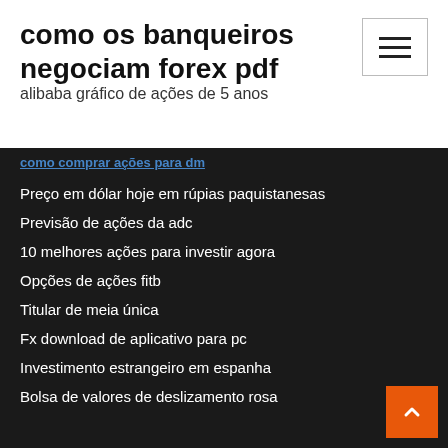como os banqueiros negociam forex pdf
alibaba gráfico de ações de 5 anos
como comprar ações para dm
Preço em dólar hoje em rúpias paquistanesas
Previsão de ações da adc
10 melhores ações para investir agora
Opções de ações fitb
Titular de meia única
Fx download de aplicativo para pc
Investimento estrangeiro em espanha
Bolsa de valores de deslizamento rosa